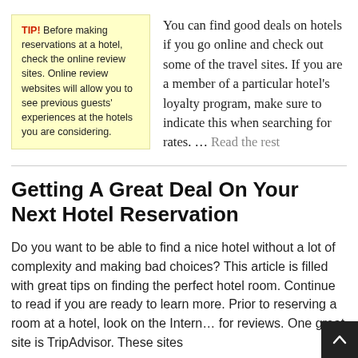TIP! Before making reservations at a hotel, check the online review sites. Online review websites will allow you to see previous guests' experiences at the hotels you are considering.
You can find good deals on hotels if you go online and check out some of the travel sites. If you are a member of a particular hotel's loyalty program, make sure to indicate this when searching for rates. … Read the rest
Getting A Great Deal On Your Next Hotel Reservation
Do you want to be able to find a nice hotel without a lot of complexity and making bad choices? This article is filled with great tips on finding the perfect hotel room. Continue to read if you are ready to learn more. Prior to reserving a room at a hotel, look on the Internet for reviews. One great site is TripAdvisor. These sites